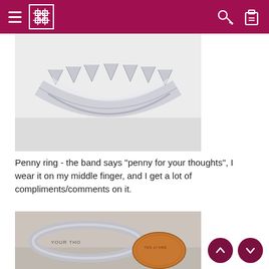Navigation header with hamburger menu, logo, key icon, and clipboard icon
[Figure (photo): Close-up photo of a silver ring showing the band with ridged/segmented design, viewed from the side/bottom against a light background]
Penny ring - the band says "penny for your thoughts", I wear it on my middle finger, and I get a lot of compliments/comments on it.
[Figure (photo): Photo of a penny ring showing the band with text 'PENNY FOR YOUR THOUGHTS' and a penny coin (United States of America), partially visible]